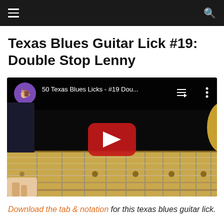≡  🔍
Texas Blues Guitar Lick #19: Double Stop Lenny
[Figure (screenshot): YouTube video embed showing '50 Texas Blues Licks - #19 Dou...' with a guitar fretboard visible and a red YouTube play button in the center. Channel icon visible in top left corner.]
Download the tab & notation for this texas blues guitar lick.